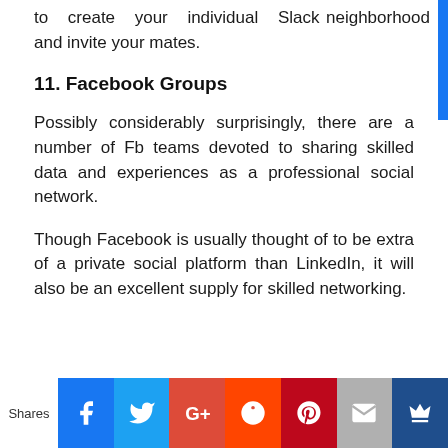to create your individual Slack neighborhood and invite your mates.
11. Facebook Groups
Possibly considerably surprisingly, there are a number of Fb teams devoted to sharing skilled data and experiences as a professional social network.
Though Facebook is usually thought of to be extra of a private social platform than LinkedIn, it will also be an excellent supply for skilled networking.
[Figure (infographic): Social media share bar with icons for Facebook, Twitter, Google+, Reddit, Pinterest, Email, and an additional share icon. Labeled 'Shares' on the left.]